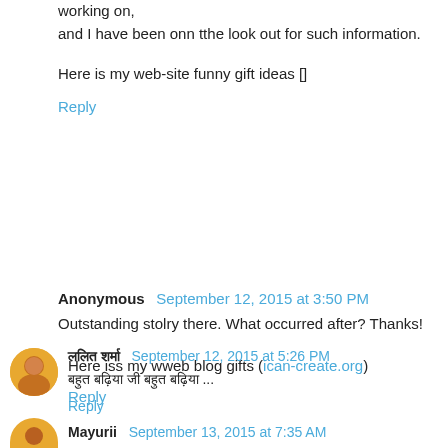working on,
and I have been onn tthe look out for such information.
Here is my web-site funny gift ideas []
Reply
Anonymous  September 12, 2015 at 3:50 PM
Outstanding stolry there. What occurred after? Thanks!
Here iss my wweb blog gifts (ican-create.org)
Reply
ललित शर्मा  September 12, 2015 at 5:26 PM
बहुत बढ़िया जी बहुत बढ़िया ...
Reply
Mayurii  September 13, 2015 at 7:35 AM